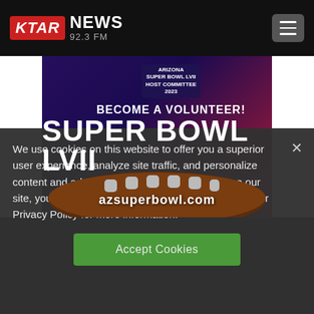[Figure (logo): KTAR NEWS 92.3 FM logo with red speech bubble background for KTAR text and white NEWS text, hamburger menu button on right]
[Figure (illustration): Super Bowl LVII volunteer recruitment advertisement showing 'BECOME A VOLUNTEER! SUPER BOWL LVII' text with a football image and 'azsuperbowl.com' URL, purple/red gradient background]
We use cookies on this website to offer you a superior user experience, analyze site traffic, and personalize content and advertisements. By continuing to use our site, you consent to our use of cookies. Please visit our Privacy Policy for more information.
Accept Cookies